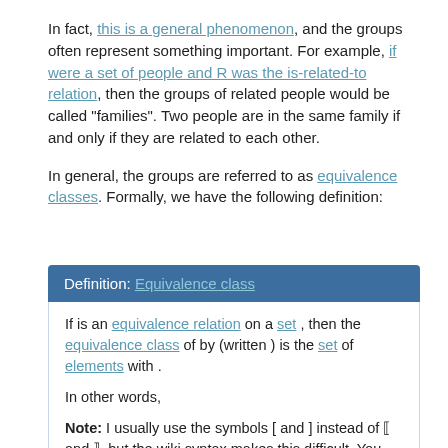In fact, this is a general phenomenon, and the groups often represent something important. For example, if were a set of people and R was the is-related-to relation, then the groups of related people would be called "families". Two people are in the same family if and only if they are related to each other.
In general, the groups are referred to as equivalence classes. Formally, we have the following definition:
Definition: Equivalence class
If is an equivalence relation on a set , then the equivalence class of by (written ) is the set of elements with .
In other words,
Note: I usually use the symbols [ and ] instead of ⟦ and ⟧, but the wiki syntax makes this difficult. You